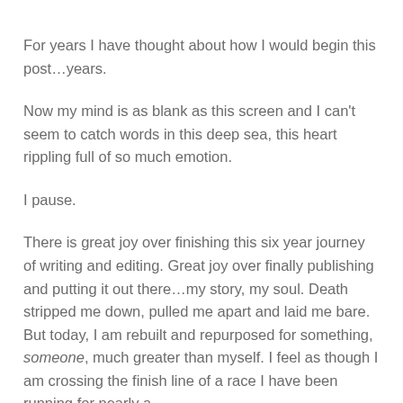For years I have thought about how I would begin this post…years.
Now my mind is as blank as this screen and I can't seem to catch words in this deep sea, this heart rippling full of so much emotion.
I pause.
There is great joy over finishing this six year journey of writing and editing. Great joy over finally publishing and putting it out there…my story, my soul. Death stripped me down, pulled me apart and laid me bare. But today, I am rebuilt and repurposed for something, someone, much greater than myself. I feel as though I am crossing the finish line of a race I have been running for nearly a